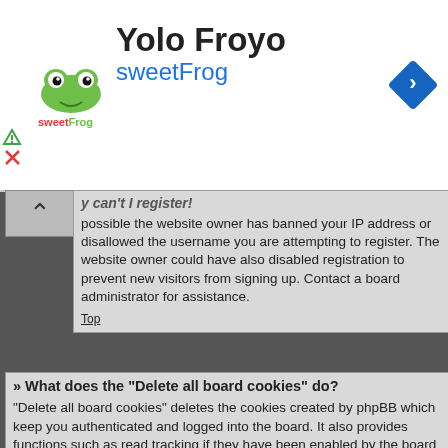[Figure (screenshot): Ad banner for Yolo Froyo sweetFrog with logo, text, and navigation arrow icon]
possible the website owner has banned your IP address or disallowed the username you are attempting to register. The website owner could have also disabled registration to prevent new visitors from signing up. Contact a board administrator for assistance.
Top
» What does the “Delete all board cookies” do?
“Delete all board cookies” deletes the cookies created by phpBB which keep you authenticated and logged into the board. It also provides functions such as read tracking if they have been enabled by the board owner. If you are having login or logout problems, deleting board cookies may help.
Top
User Preferences and settings
» How do I change my settings?
If you are a registered user, all your settings are stored in the board